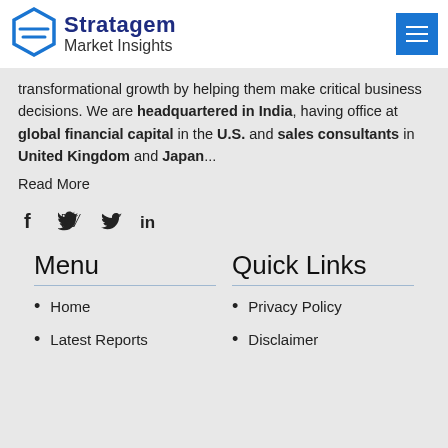[Figure (logo): Stratagem Market Insights logo with blue hexagon icon and text]
transformational growth by helping them make critical business decisions. We are headquartered in India, having office at global financial capital in the U.S. and sales consultants in United Kingdom and Japan...
Read More
[Figure (other): Social media icons: Facebook (f), Twitter (bird), LinkedIn (in)]
Menu
Quick Links
Home
Privacy Policy
Latest Reports
Disclaimer